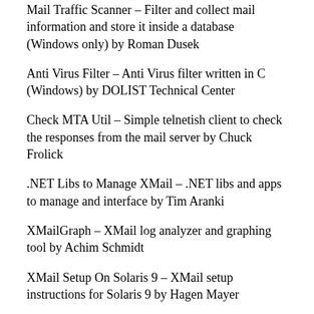Mail Traffic Scanner – Filter and collect mail information and store it inside a database (Windows only) by Roman Dusek
Anti Virus Filter – Anti Virus filter written in C (Windows) by DOLIST Technical Center
Check MTA Util – Simple telnetish client to check the responses from the mail server by Chuck Frolick
.NET Libs to Manage XMail – .NET libs and apps to manage and interface by Tim Aranki
XMailGraph – XMail log analyzer and graphing tool by Achim Schmidt
XMail Setup On Solaris 9 – XMail setup instructions for Solaris 9 by Hagen Mayer
XAVStats – XAV statistics for XMail by Liron Newman